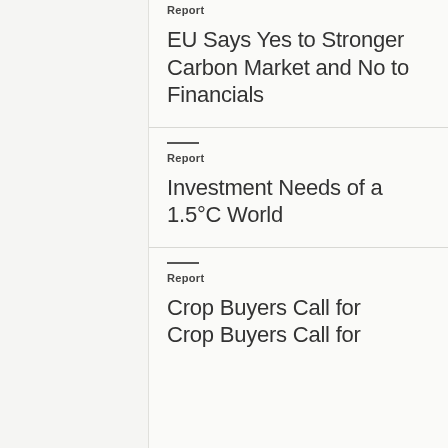Report
EU Says Yes to Stronger Carbon Market and No to Financials
Report
Investment Needs of a 1.5°C World
Report
Crop Buyers Call for